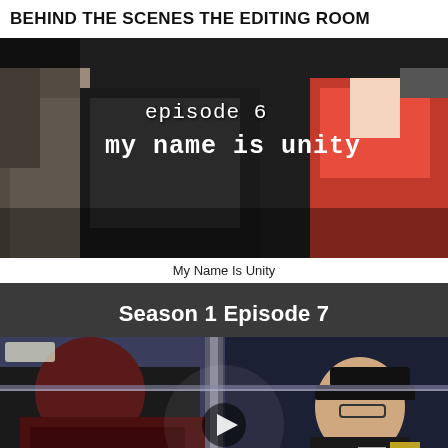BEHIND THE SCENES THE EDITING ROOM
[Figure (photo): Video thumbnail showing episode 6 title card with text 'episode 6' and 'my name is unity' overlaid on a dark scene with a figure in coat and red uniform]
My Name Is Unity
Season 1 Episode 7
[Figure (photo): Video thumbnail of a scene inside what appears to be a train or bus, showing a person in dark coat on left and another person with glasses on the right, with a play button overlay in the center]